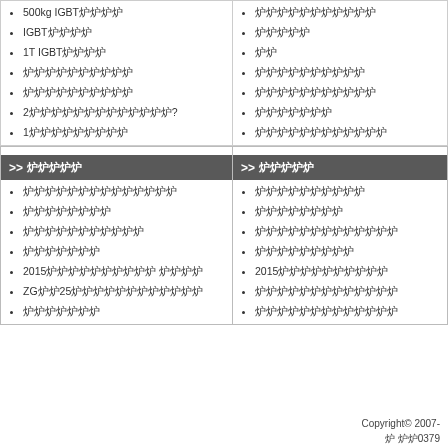500kg IGBT炉炉炉炉
IGBT炉炉炉炉
1T IGBT炉炉炉炉
炉炉炉炉炉炉炉炉炉炉
炉炉炉炉炉炉炉炉炉炉
2炉炉炉炉炉炉炉炉炉炉炉炉炉?
1炉炉炉炉炉炉炉炉炉
炉炉炉炉炉炉炉炉炉炉炉
炉炉炉炉炉
炉炉
炉炉炉炉炉炉炉炉炉炉
炉炉炉炉炉炉炉炉炉炉炉
炉炉炉炉炉炉炉
炉炉炉炉炉炉炉炉炉炉炉炉
>> 炉炉炉炉炉
炉炉炉炉炉炉炉炉炉炉炉炉炉炉
炉炉炉炉炉炉炉炉
炉炉炉炉炉炉炉炉炉炉炉
炉炉炉炉炉炉炉
2015炉炉炉炉炉炉炉炉炉炉 炉炉炉炉
ZG炉炉25炉炉炉炉炉炉炉炉炉炉炉炉
炉炉炉炉炉炉炉
>> 炉炉炉炉炉
炉炉炉炉炉炉炉炉炉炉
炉炉炉炉炉炉炉炉
炉炉炉炉炉炉炉炉炉炉炉炉炉
炉炉炉炉炉炉炉炉炉
2015炉炉炉炉炉炉炉炉炉炉
炉炉炉炉炉炉炉炉炉炉炉炉炉
炉炉炉炉炉炉炉炉炉炉炉炉炉
Copyright© 2007-
炉 炉炉0379